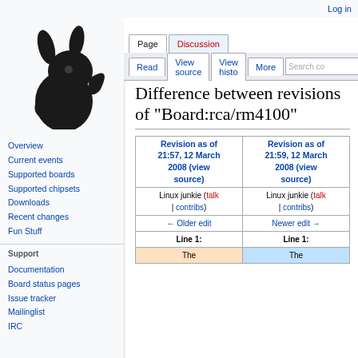Log in
[Figure (logo): Coreboot wiki logo – stylized black rabbit/squirrel figure]
Page | Discussion | Read | View source | View history | More
Difference between revisions of "Board:rca/rm4100"
Navigation links: Overview, Current events, Supported boards, Supported chipsets, Downloads, Recent changes, Fun Stuff
Support section: Documentation, Board status pages, Issue tracker, Mailinglist, IRC
| Revision as of 21:57, 12 March 2008 (view source) | Revision as of 21:59, 12 March 2008 (view source) |
| --- | --- |
| Linux junkie (talk | contribs) | Linux junkie (talk | contribs) |
| ← Older edit | Newer edit → |
| Line 1: | Line 1: |
| The | The |